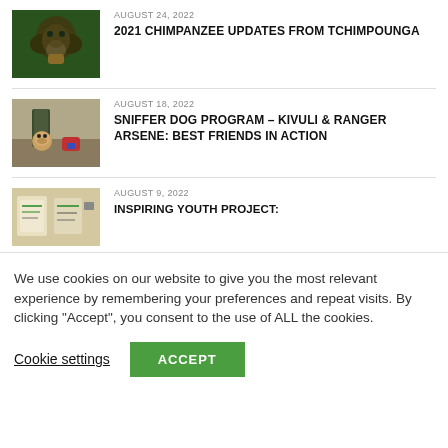[Figure (photo): Thumbnail photo of a chimpanzee eating something, green foliage background]
AUGUST 24, 2022
2021 CHIMPANZEE UPDATES FROM TCHIMPOUNGA
[Figure (photo): Thumbnail photo of a ranger with a small dog in an outdoor setting]
AUGUST 18, 2022
SNIFFER DOG PROGRAM – KIVULI & RANGER ARSENE: BEST FRIENDS IN ACTION
[Figure (photo): Thumbnail photo showing papers or drawings on a surface]
AUGUST 9, 2022
INSPIRING YOUTH PROJECT:
We use cookies on our website to give you the most relevant experience by remembering your preferences and repeat visits. By clicking "Accept", you consent to the use of ALL the cookies.
Cookie settings
ACCEPT